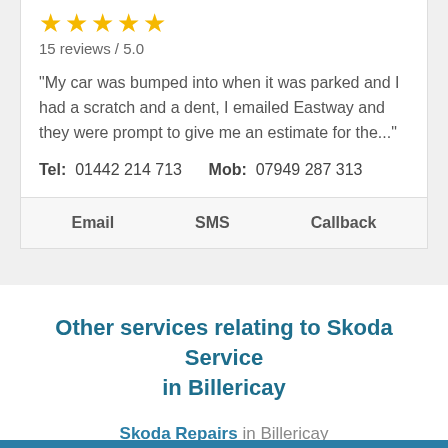[Figure (other): Five gold stars rating]
15 reviews / 5.0
"My car was bumped into when it was parked and I had a scratch and a dent, I emailed Eastway and they were prompt to give me an estimate for the..."
Tel: 01442 214 713    Mob: 07949 287 313
Email    SMS    Callback
Other services relating to Skoda Service in Billericay
Skoda Repairs in Billericay